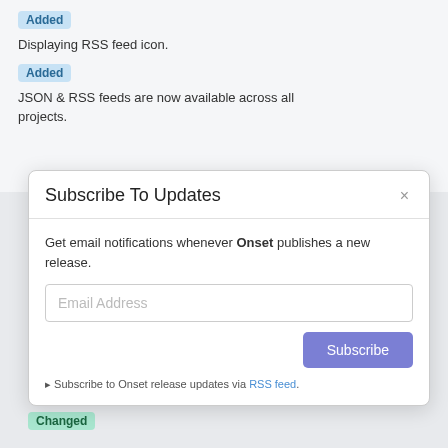Added
Displaying RSS feed icon.
Added
JSON & RSS feeds are now available across all projects.
Subscribe To Updates
Get email notifications whenever Onset publishes a new release.
Email Address
Subscribe
Subscribe to Onset release updates via RSS feed.
Changed